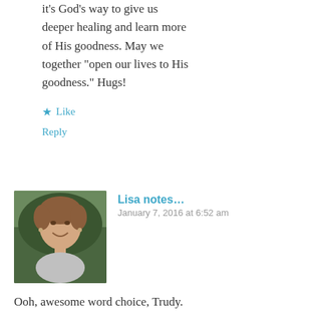it's God's way to give us deeper healing and learn more of His goodness. May we together "open our lives to His goodness." Hugs!
★ Like
Reply
Lisa notes...
January 7, 2016 at 6:52 am
Ooh, awesome word choice, Trudy. This is the first "open" I've seen. What great potential it has! I know God will move deep and wide through it in your life this year. Brave woman you are! 🙂 Blessings to you.